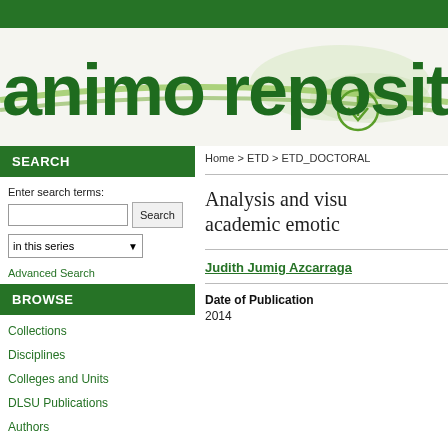[Figure (logo): Animo Repository logo with green swoosh design and large bold green text reading 'animo reposit' (cropped)]
Home > ETD > ETD_DOCTORAL
SEARCH
Enter search terms:
in this series
Advanced Search
BROWSE
Collections
Disciplines
Colleges and Units
DLSU Publications
Authors
Analysis and visu academic emotic
Judith Jumig Azcarraga
Date of Publication
2014